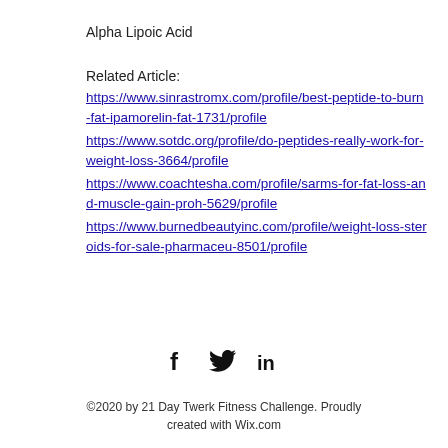Alpha Lipoic Acid
Related Article:
https://www.sinrastromx.com/profile/best-peptide-to-burn-fat-ipamorelin-fat-1731/profile
https://www.sotdc.org/profile/do-peptides-really-work-for-weight-loss-3664/profile
https://www.coachtesha.com/profile/sarms-for-fat-loss-and-muscle-gain-proh-5629/profile
https://www.burnedbeautyinc.com/profile/weight-loss-steroids-for-sale-pharmaceu-8501/profile
[Figure (illustration): Social media icons: Facebook (f), Twitter (bird), LinkedIn (in)]
©2020 by 21 Day Twerk Fitness Challenge. Proudly created with Wix.com